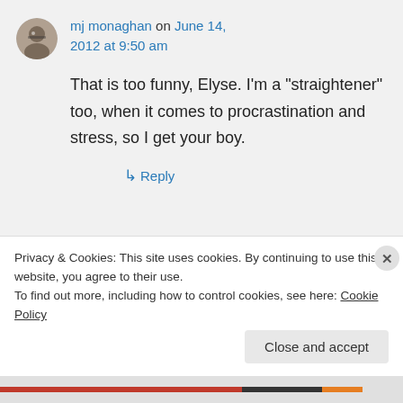mj monaghan on June 14, 2012 at 9:50 am
That is too funny, Elyse. I’m a “straightener” too, when it comes to procrastination and stress, so I get your boy.
↳ Reply
Privacy & Cookies: This site uses cookies. By continuing to use this website, you agree to their use.
To find out more, including how to control cookies, see here: Cookie Policy